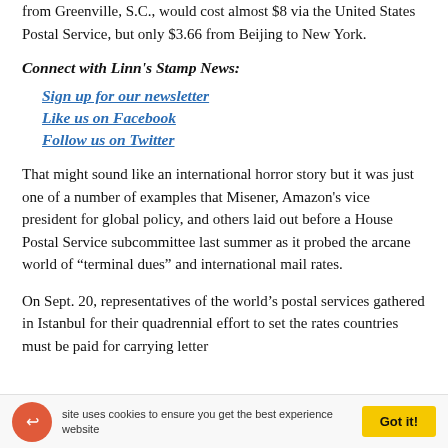from Greenville, S.C., would cost almost $8 via the United States Postal Service, but only $3.66 from Beijing to New York.
Connect with Linn's Stamp News:
Sign up for our newsletter
Like us on Facebook
Follow us on Twitter
That might sound like an international horror story but it was just one of a number of examples that Misener, Amazon's vice president for global policy, and others laid out before a House Postal Service subcommittee last summer as it probed the arcane world of “terminal dues” and international mail rates.
On Sept. 20, representatives of the world’s postal services gathered in Istanbul for their quadrennial effort to set the rates countries must be paid for carrying letter